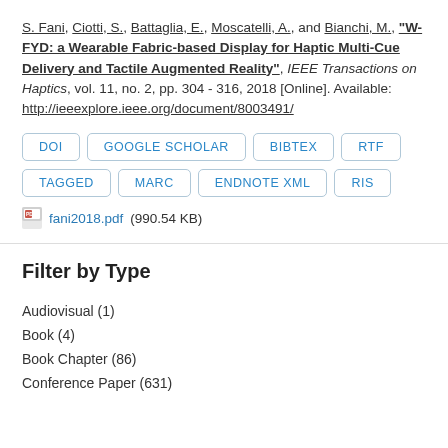S. Fani, Ciotti, S., Battaglia, E., Moscatelli, A., and Bianchi, M., "W-FYD: a Wearable Fabric-based Display for Haptic Multi-Cue Delivery and Tactile Augmented Reality", IEEE Transactions on Haptics, vol. 11, no. 2, pp. 304 - 316, 2018 [Online]. Available: http://ieeexplore.ieee.org/document/8003491/
DOI
GOOGLE SCHOLAR
BIBTEX
RTF
TAGGED
MARC
ENDNOTE XML
RIS
fani2018.pdf (990.54 KB)
Filter by Type
Audiovisual (1)
Book (4)
Book Chapter (86)
Conference Paper (631)